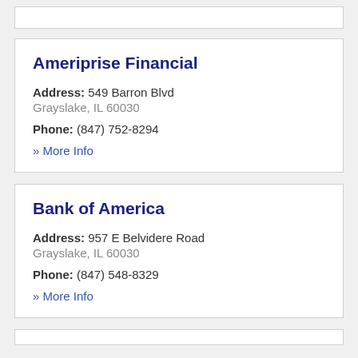Ameriprise Financial
Address: 549 Barron Blvd
Grayslake, IL 60030
Phone: (847) 752-8294
» More Info
Bank of America
Address: 957 E Belvidere Road
Grayslake, IL 60030
Phone: (847) 548-8329
» More Info